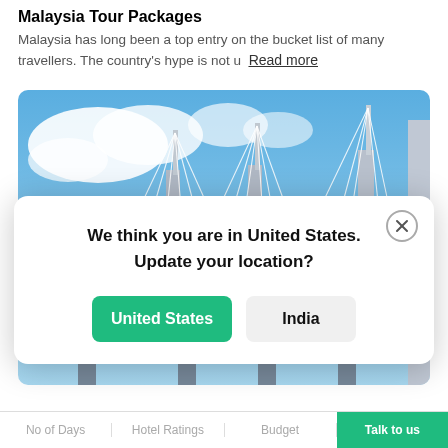Malaysia Tour Packages
Malaysia has long been a top entry on the bucket list of many travellers. The country's hype is not u  Read more
[Figure (photo): A cable-stayed bridge photographed from below against a blue sky with white clouds]
We think you are in United States. Update your location?
United States
India
No of Days | Hotel Ratings | Budget | Talk to us